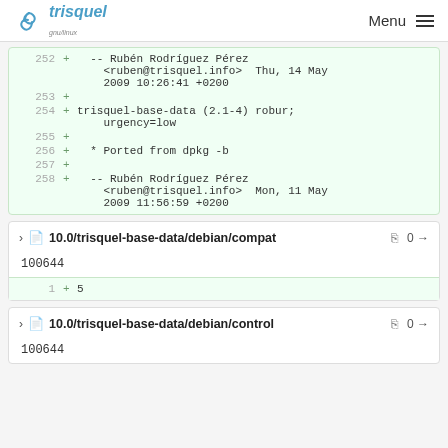trisquel Menu
252  +  -- Rubén Rodríguez Pérez <ruben@trisquel.info>  Thu, 14 May 2009 10:26:41 +0200
253  +
254  + trisquel-base-data (2.1-4) robur; urgency=low
255  +
256  +  * Ported from dpkg -b
257  +
258  +  -- Rubén Rodríguez Pérez <ruben@trisquel.info>  Mon, 11 May 2009 11:56:59 +0200
10.0/trisquel-base-data/debian/compat  0 →
100644
1  + 5
10.0/trisquel-base-data/debian/control  0 →
100644